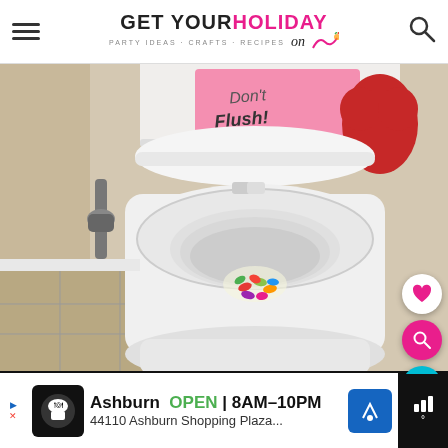GET YOUR HOLIDAY on — PARTY IDEAS · CRAFTS · RECIPES
[Figure (photo): Open toilet bowl with colorful jelly beans inside the bowl. Toilet lid is raised showing a pink note that says 'Don't Flush!'. A red heart-shaped item is visible on the toilet tank. Photo taken in a bathroom with tile flooring. Floating action buttons overlay the right side: a white circle with a pink heart, a pink circle with a search/magnifying glass icon, a teal circle with a heart icon, and a white circle with a share icon.]
Ashburn  OPEN  8AM–10PM  44110 Ashburn Shopping Plaza...